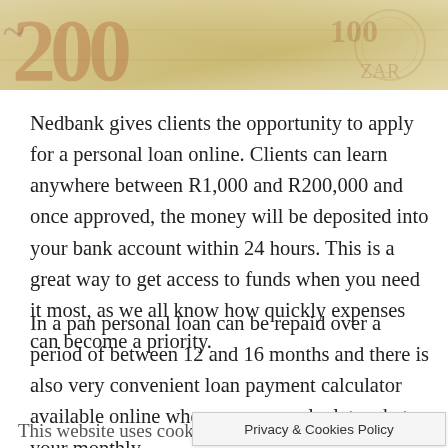[Figure (photo): Close-up photo of South African R200 banknotes with cream/beige tones]
Nedbank gives clients the opportunity to apply for a personal loan online. Clients can learn anywhere between R1,000 and R200,000 and once approved, the money will be deposited into your bank account within 24 hours. This is a great way to get access to funds when you need it most, as we all know how quickly expenses can become a priority.
In a pan personal loan can be repaid over a period of between 12 and 16 months and there is also very convenient loan payment calculator available online where you can calculate what your monthly
This website uses cooki
Privacy & Cookies Policy
ence. We'll